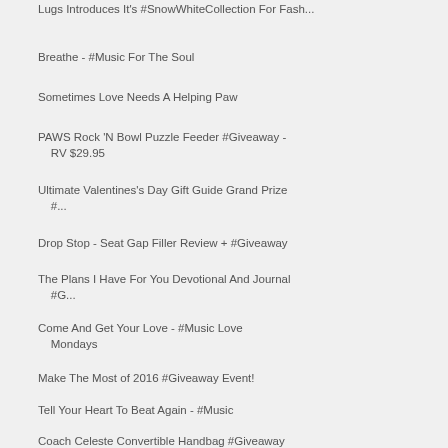Lugs Introduces It's #SnowWhiteCollection For Fash...
Breathe - #Music For The Soul
Sometimes Love Needs A Helping Paw
PAWS Rock 'N Bowl Puzzle Feeder #Giveaway - RV $29.95
Ultimate Valentines's Day Gift Guide Grand Prize #...
Drop Stop - Seat Gap Filler Review + #Giveaway
The Plans I Have For You Devotional And Journal #G...
Come And Get Your Love - #Music Love Mondays
Make The Most of 2016 #Giveaway Event!
Tell Your Heart To Beat Again - #Music
Coach Celeste Convertible Handbag #Giveaway